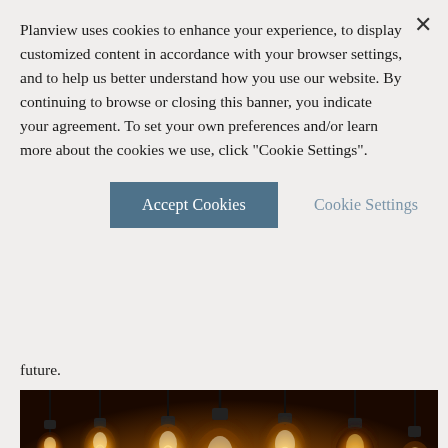Planview uses cookies to enhance your experience, to display customized content in accordance with your browser settings, and to help us better understand how you use our website. By continuing to browse or closing this banner, you indicate your agreement. To set your own preferences and/or learn more about the cookies we use, click "Cookie Settings".
future.
[Figure (photo): Photograph of multiple vintage Edison-style incandescent light bulbs hanging from black cords against a warm orange/amber background, glowing warmly.]